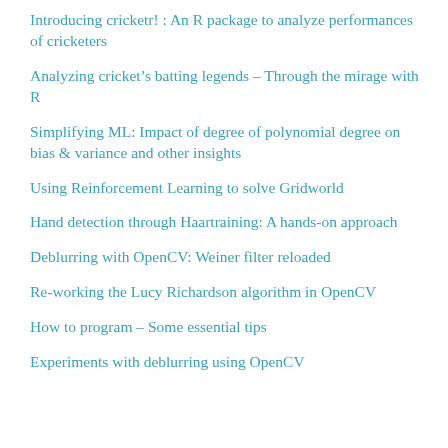Introducing cricketr! : An R package to analyze performances of cricketers
Analyzing cricket’s batting legends – Through the mirage with R
Simplifying ML: Impact of degree of polynomial degree on bias & variance and other insights
Using Reinforcement Learning to solve Gridworld
Hand detection through Haartraining: A hands-on approach
Deblurring with OpenCV: Weiner filter reloaded
Re-working the Lucy Richardson algorithm in OpenCV
How to program – Some essential tips
Experiments with deblurring using OpenCV